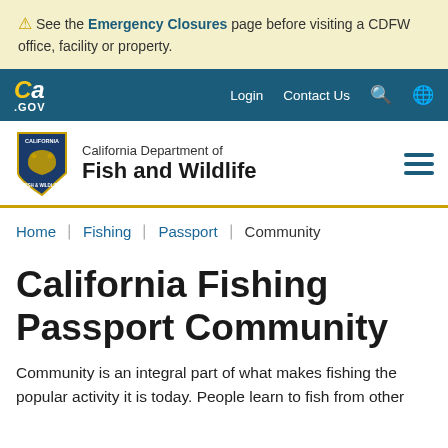⚠ See the Emergency Closures page before visiting a CDFW office, facility or property.
CA.GOV | Login | Contact Us
[Figure (logo): California Department of Fish and Wildlife shield logo with California state bear and text]
California Department of Fish and Wildlife
Home › Fishing › Passport › Community
California Fishing Passport Community
Community is an integral part of what makes fishing the popular activity it is today. People learn to fish from other